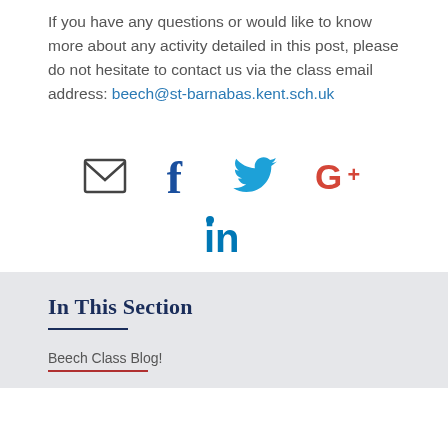If you have any questions or would like to know more about any activity detailed in this post, please do not hesitate to contact us via the class email address: beech@st-barnabas.kent.sch.uk
[Figure (infographic): Social sharing icons: email envelope, Facebook (f), Twitter bird, Google+, LinkedIn (in)]
In This Section
Beech Class Blog!